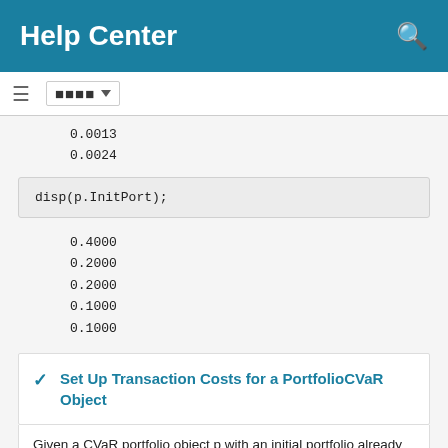Help Center
0.0013
0.0024
disp(p.InitPort);
0.4000
0.2000
0.2000
0.1000
0.1000
Set Up Transaction Costs for a PortfolioCVaR Object
Given a CVaR portfolio object p with an initial portfolio already set, use the setCosts function to set up